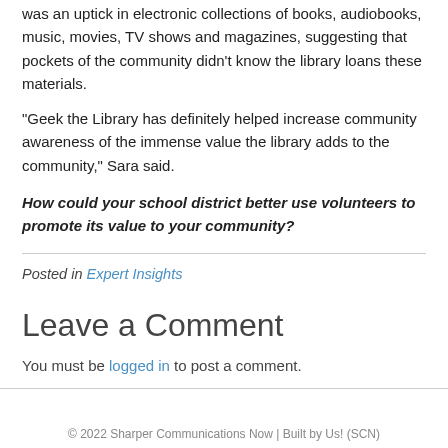was an uptick in electronic collections of books, audiobooks, music, movies, TV shows and magazines, suggesting that pockets of the community didn't know the library loans these materials.
“Geek the Library has definitely helped increase community awareness of the immense value the library adds to the community,” Sara said.
How could your school district better use volunteers to promote its value to your community?
Posted in Expert Insights
Leave a Comment
You must be logged in to post a comment.
© 2022 Sharper Communications Now | Built by Us! (SCN)